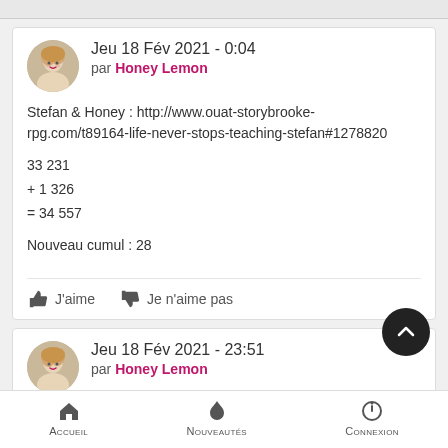Jeu 18 Fév 2021 - 0:04
par Honey Lemon
Stefan & Honey : http://www.ouat-storybrooke-rpg.com/t89164-life-never-stops-teaching-stefan#1278820

33 231
+ 1 326
= 34 557

Nouveau cumul : 28
J'aime   Je n'aime pas
Jeu 18 Fév 2021 - 23:51
par Honey Lemon
Accueil   Nouveautés   Connexion